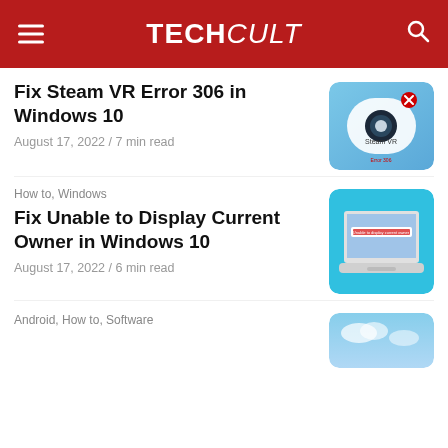TechCult
Fix Steam VR Error 306 in Windows 10
August 17, 2022 / 7 min read
How to, Windows
Fix Unable to Display Current Owner in Windows 10
August 17, 2022 / 6 min read
Android, How to, Software